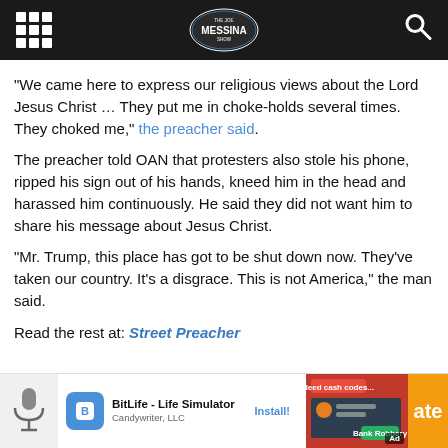Messina Show
“We came here to express our religious views about the Lord Jesus Christ … They put me in choke-holds several times. They choked me,” the preacher said.
The preacher told OAN that protesters also stole his phone, ripped his sign out of his hands, kneed him in the head and harassed him continuously. He said they did not want him to share his message about Jesus Christ.
“Mr. Trump, this place has got to be shut down now. They’ve taken our country. It’s a disgrace. This is not America,” the man said.
Read the rest at: Street Preacher
[Figure (screenshot): Advertisement for BitLife - Life Simulator by Candywriter, LLC with an Install button and game screenshot]